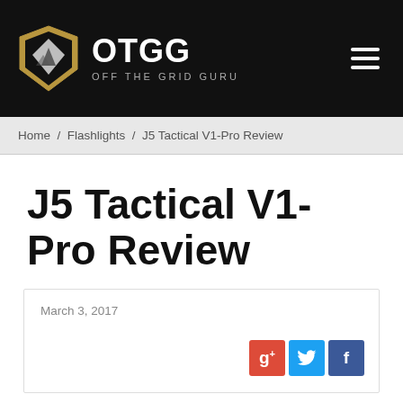OTGG OFF THE GRID GURU
Home / Flashlights / J5 Tactical V1-Pro Review
J5 Tactical V1-Pro Review
March 3, 2017